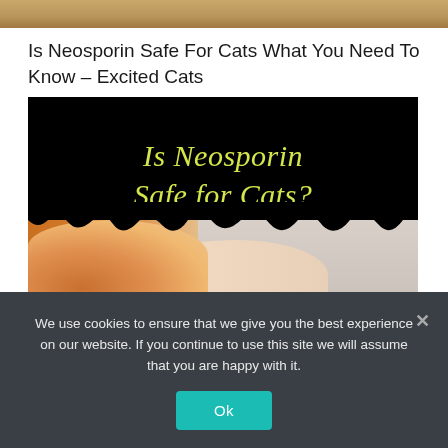[Figure (photo): Cropped top strip of a wooden/warm-toned surface photo]
Is Neosporin Safe For Cats What You Need To Know – Excited Cats
[Figure (photo): Promotional image with black background and yellow italic text reading 'Is Neosporin Safe for Cats?' over a photo of an orange tabby cat lying on a light surface]
We use cookies to ensure that we give you the best experience on our website. If you continue to use this site we will assume that you are happy with it.
Ok